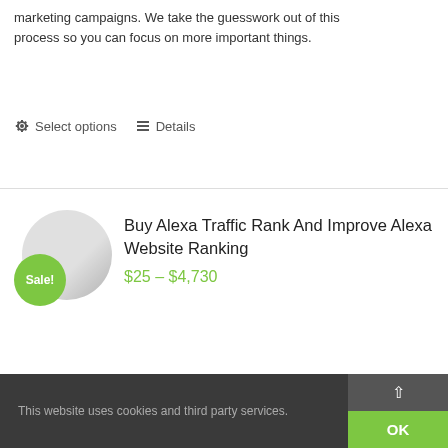marketing campaigns. We take the guesswork out of this process so you can focus on more important things.
Select options   Details
[Figure (illustration): Product image of a CD/disc with a green Sale! badge overlay]
Buy Alexa Traffic Rank And Improve Alexa Website Ranking
$25 – $4,730
Buy Alexa Traffic Rank And Increase Alexa Website Ranking and Get Real Alexa Hits and Boost your popularity on internet. Alexa Internet is so
This website uses cookies and third party services.   OK